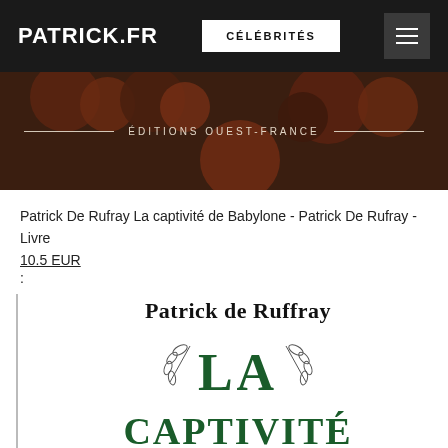PATRICK.FR | CÉLÉBRITÉS | [menu]
[Figure (photo): Dark banner image showing garlic bulbs on a wooden surface with text 'ÉDITIONS OUEST-FRANCE' overlaid in the center with decorative lines on either side]
Patrick De Rufray La captivité de Babylone - Patrick De Rufray - Livre
10.5 EUR
:
[Figure (illustration): Partial book cover showing 'Patrick de Ruffray' in bold serif font as author name, then a decorative olive branch illustration flanking large letters 'LA', and below partially visible text 'CAPTIVITÉ' in dark green]